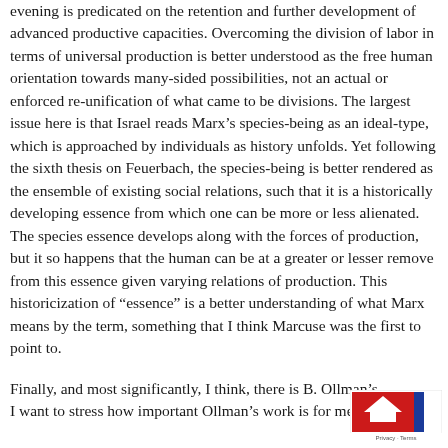evening is predicated on the retention and further development of advanced productive capacities. Overcoming the division of labor in terms of universal production is better understood as the free human orientation towards many-sided possibilities, not an actual or enforced re-unification of what came to be divisions. The largest issue here is that Israel reads Marx's species-being as an ideal-type, which is approached by individuals as history unfolds. Yet following the sixth thesis on Feuerbach, the species-being is better rendered as the ensemble of existing social relations, such that it is a historically developing essence from which one can be more or less alienated. The species essence develops along with the forces of production, but it so happens that the human can be at a greater or lesser remove from this essence given varying relations of production. This historicization of “essence” is a better understanding of what Marx means by the term, something that I think Marcuse was the first to point to.
Finally, and most significantly, I think, there is B. Ollman's… I want to stress how important Ollman’s work is for me.
[Figure (other): Cookie consent banner with red background and white upward arrow icon, showing 'Privacy' and 'Terms' links]